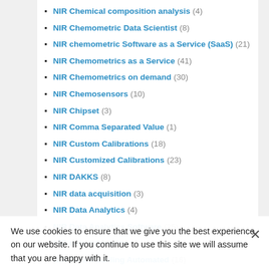NIR Chemical composition analysis (4)
NIR Chemometric Data Scientist (8)
NIR chemometric Software as a Service (SaaS) (21)
NIR Chemometrics as a Service (41)
NIR Chemometrics on demand (30)
NIR Chemosensors (10)
NIR Chipset (3)
NIR Comma Separated Value (1)
NIR Custom Calibrations (18)
NIR Customized Calibrations (23)
NIR DAKKS (8)
NIR data acquisition (3)
NIR Data Analytics (4)
NIR Data Analytics Software (25)
NIR data evaluation (3)
NIR Data Modeling Automated (16)
NIR Data Science Dienstleister (19)
NIR Data Science Tasks automated (24)
NIR Data Scientist (17)
NIR digital transformation (25)
NIR DSML platform (3)
NIR Evaluation (4)
NIR Evaluation Kit Software (4)
NIR extensibility (3)
NIR Feasibility Studies (16)
We use cookies to ensure that we give you the best experience on our website. If you continue to use this site we will assume that you are happy with it.